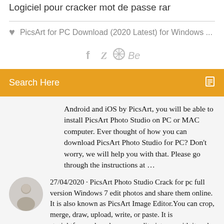Logiciel pour cracker mot de passe rar
PicsArt for PC Download (2020 Latest) for Windows ...
[Figure (other): Social media icons: Facebook (f), Twitter (bird), a circle icon, and Behance (Be)]
Search Here
Android and iOS by PicsArt, you will be able to install PicsArt Photo Studio on PC or MAC computer. Ever thought of how you can download PicsArt Photo Studio for PC? Don't worry, we will help you with that. Please go through the instructions at …
27/04/2020 · PicsArt Photo Studio Crack for pc full version Windows 7 edit photos and share them online. It is also known as PicsArt Image Editor.You can crop, merge, draw, upload, write, or paste. It is straightforward, and you can edit pictures with it and